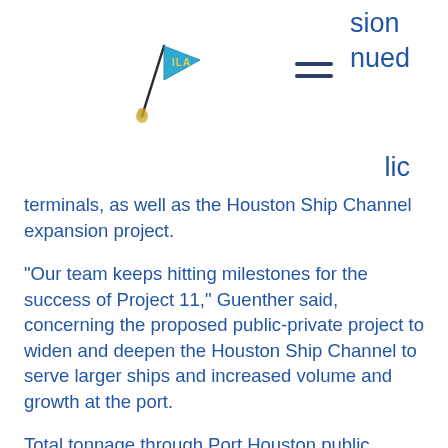[Figure (logo): ILA (International Longshoremen's Association) pennant flag logo in blue with gold lettering on a pole]
sion nued
lic terminals, as well as the Houston Ship Channel expansion project.
“Our team keeps hitting milestones for the success of Project 11,” Guenther said, concerning the proposed public-private project to widen and deepen the Houston Ship Channel to serve larger ships and increased volume and growth at the port.
Total tonnage through Port Houston public facilities through the first half of the year was 20.8 million tons, which is about 5% less than in 2019. Port